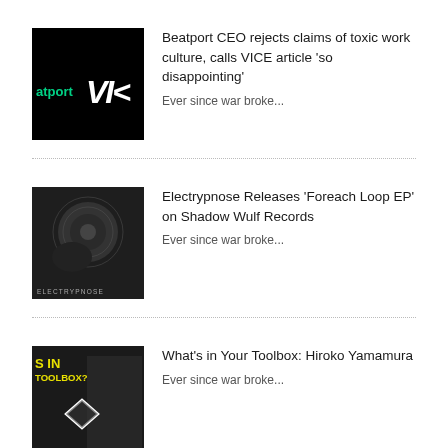[Figure (photo): Beatport and VICE logos on black background]
Beatport CEO rejects claims of toxic work culture, calls VICE article 'so disappointing'
Ever since war broke...
[Figure (photo): Electrypnose dark artistic photo with ELECTRYPNOSE label at bottom]
Electrypnose Releases 'Foreach Loop EP' on Shadow Wulf Records
Ever since war broke...
[Figure (photo): What's in Your Toolbox promotional image with yellow text and diamond logo]
What's in Your Toolbox: Hiroko Yamamura
Ever since war broke...